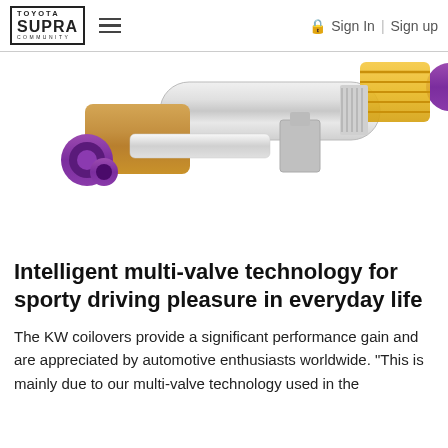TOYOTA SUPRA COMMUNITY | Sign In | Sign up
[Figure (photo): Close-up photograph of KW coilover suspension components showing chrome damper body, golden/tan bump stop sleeve with purple anodized end cap, yellow spring retainer, and various metallic clamps and fittings against a white background.]
Intelligent multi-valve technology for sporty driving pleasure in everyday life
The KW coilovers provide a significant performance gain and are appreciated by automotive enthusiasts worldwide. "This is mainly due to our multi-valve technology used in the